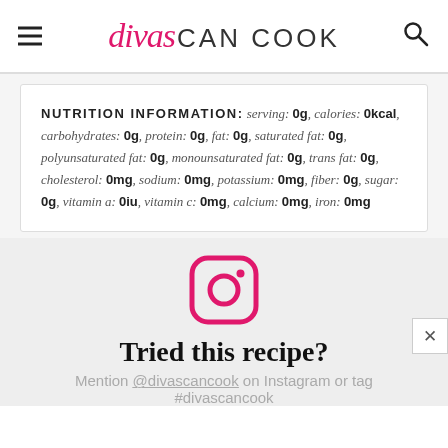divas CAN COOK
NUTRITION INFORMATION: serving: 0g, calories: 0kcal, carbohydrates: 0g, protein: 0g, fat: 0g, saturated fat: 0g, polyunsaturated fat: 0g, monounsaturated fat: 0g, trans fat: 0g, cholesterol: 0mg, sodium: 0mg, potassium: 0mg, fiber: 0g, sugar: 0g, vitamin a: 0iu, vitamin c: 0mg, calcium: 0mg, iron: 0mg
[Figure (logo): Instagram camera icon in pink/magenta]
Tried this recipe?
Mention @divascancook on Instagram or tag #divascancook